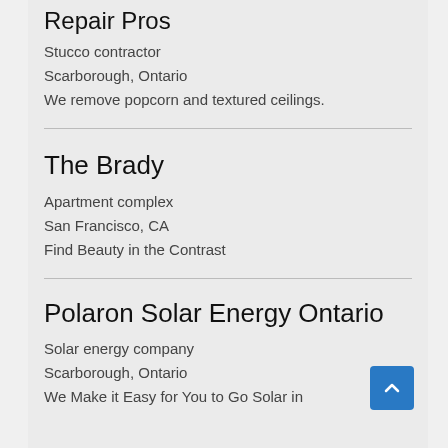Repair Pros
Stucco contractor
Scarborough, Ontario
We remove popcorn and textured ceilings.
The Brady
Apartment complex
San Francisco, CA
Find Beauty in the Contrast
Polaron Solar Energy Ontario
Solar energy company
Scarborough, Ontario
We Make it Easy for You to Go Solar in